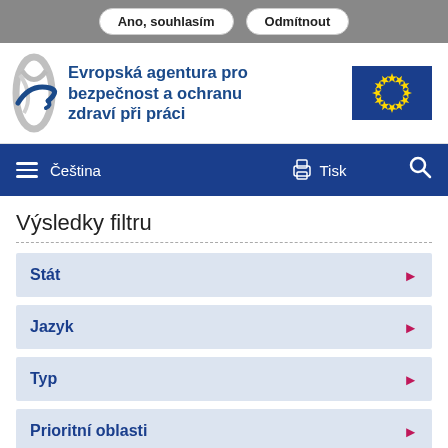Ano, souhlasím  Odmítnout
[Figure (logo): Evropská agentura pro bezpečnost a ochranu zdraví při práci logo with EU flag]
Výsledky filtru
Stát
Jazyk
Typ
Prioritní oblasti